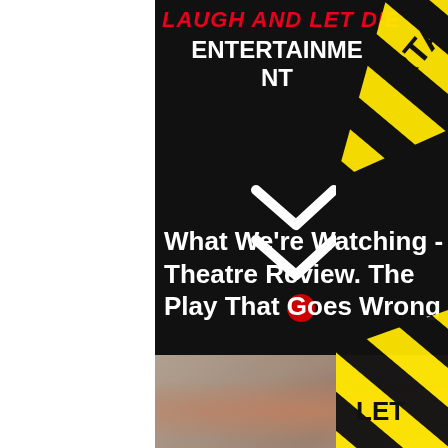[Figure (screenshot): Website header for 'Laugh and Let Die Entertainment' with a black background, red bold italic site name, white 'ENTERTAINMENT' subtitle, hamburger menu button, white chevron/arrow decorations, and yellow-black caution tape diagonal overlay on the right edge]
LAUGH AND LET DIE ENTERTAINMENT
What We're Watching - Theatre Review. The Play That Goes Wrong
[Figure (photo): Blurred photo of a theatre stage scene, partially visible at the bottom of the page]